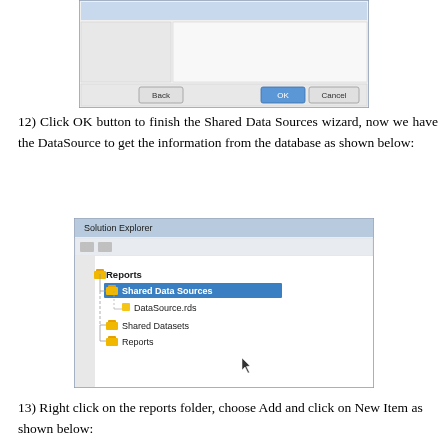[Figure (screenshot): Top portion of a dialog window showing a wizard with Back, OK, and Cancel buttons at the bottom]
12) Click OK button to finish the Shared Data Sources wizard, now we have the DataSource to get the information from the database as shown below:
[Figure (screenshot): Solution Explorer panel showing a tree structure: Reports > Shared Data Sources (highlighted in blue) > DataSource.rds, Shared Datasets, Reports folders. A mouse cursor is visible in the lower area.]
13) Right click on the reports folder, choose Add and click on New Item as shown below: